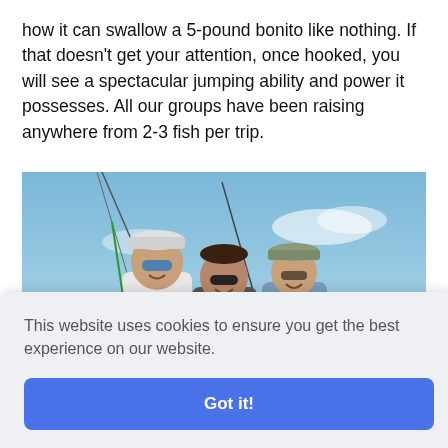how it can swallow a 5-pound bonito like nothing. If that doesn't get your attention, once hooked, you will see a spectacular jumping ability and power it possesses. All our groups have been raising anywhere from 2-3 fish per trip.
[Figure (photo): Three men on a fishing boat leaning over the side, smiling at the camera. Blue sky and ocean in the background. They are wearing sunglasses and light fishing shirts.]
This website uses cookies to ensure you get the best experience on our website.
Got it!